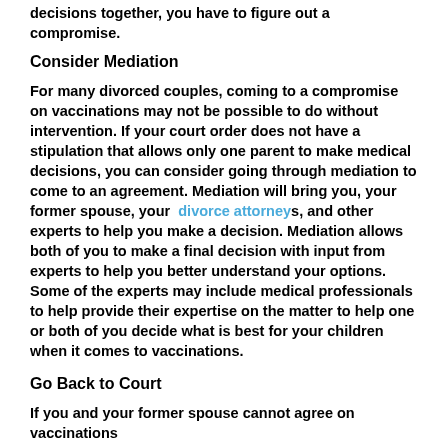decisions together, you have to figure out a compromise.
Consider Mediation
For many divorced couples, coming to a compromise on vaccinations may not be possible to do without intervention. If your court order does not have a stipulation that allows only one parent to make medical decisions, you can consider going through mediation to come to an agreement. Mediation will bring you, your former spouse, your divorce attorneys, and other experts to help you make a decision. Mediation allows both of you to make a final decision with input from experts to help you better understand your options. Some of the experts may include medical professionals to help provide their expertise on the matter to help one or both of you decide what is best for your children when it comes to vaccinations.
Go Back to Court
If you and your former spouse cannot agree on vaccinations